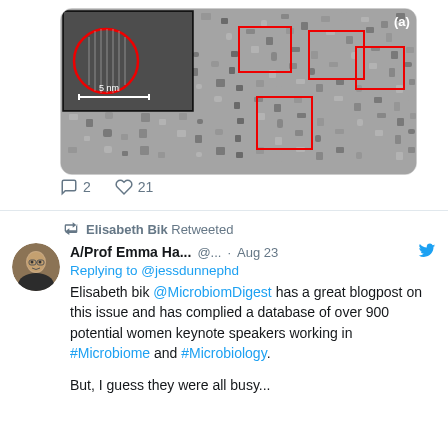[Figure (photo): Electron microscopy image showing nanoparticles with red boxes highlighting regions of interest and an inset showing a zoomed-in view with a red circle and scale bar of 5 nm. Label (a) in top right corner.]
2  21
Elisabeth Bik Retweeted
A/Prof Emma Ha... @... · Aug 23
Replying to @jessdunnephd
Elisabeth bik @MicrobiomDigest has a great blogpost on this issue and has complied a database of over 900 potential women keynote speakers working in #Microbiome and #Microbiology.

But, I guess they were all busy...